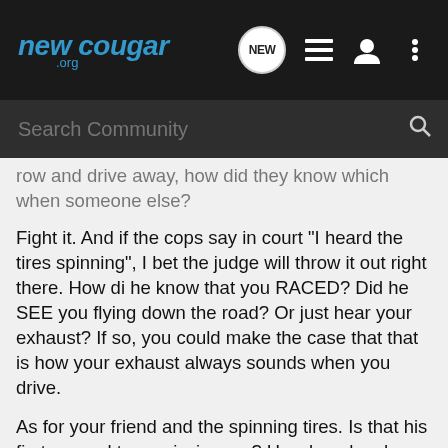newcougar.org
Search Community
row and drive away, how did they know which when someone else?
Fight it. And if the cops say in court "I heard the tires spinning", I bet the judge will throw it out right there. How di he know that you RACED? Did he SEE you flying down the road? Or just hear your exhaust? If so, you could make the case that that is how your exhaust always sounds when you drive.
As for your friend and the spinning tires. Is that his first manual transmission car? How long has he had it? he could probably say "I just slipped the clutch too much, I'm not used to a manual. I've had the car for a day and a half." IDK if that will hold up, though. It depends on how much he spun the tires. If he just spun for a second, then that might go. If he sat there just smoking the sh!t out of them, then he may have a problem.